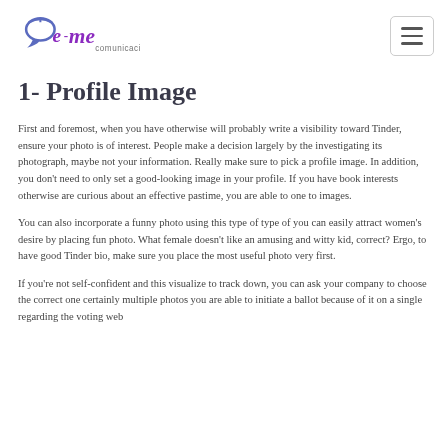[Figure (logo): e-me comunicación logo with speech bubble icon in blue/purple and stylized cursive text]
1- Profile Image
First and foremost, when you have otherwise will probably write a visibility toward Tinder, ensure your photo is of interest. People make a decision largely by the investigating its photograph, maybe not your information. Really make sure to pick a profile image. In addition, you don't need to only set a good-looking image in your profile. If you have book interests otherwise are curious about an effective pastime, you are able to one to images.
You can also incorporate a funny photo using this type of type of you can easily attract women's desire by placing fun photo. What female doesn't like an amusing and witty kid, correct? Ergo, to have good Tinder bio, make sure you place the most useful photo very first.
If you're not self-confident and this visualize to track down, you can ask your company to choose the correct one certainly multiple photos you are able to initiate a ballot because of it on a single regarding the voting web